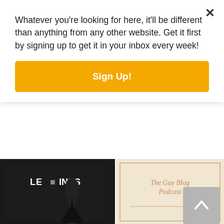Whatever you're looking for here, it'll be different than anything from any other website. Get it first by signing up to get it in your inbox every week!
Sign Up!
[Figure (photo): Podcast image showing a person in a black t-shirt with text 'LE... INKS' near a microphone on the left side, and a beige/tan panel on the right reading 'The Guy Blog Podcast' with a decorative N element]
TGBP 020 Dana White and the Future of the UFC
Dana White has gone into full IDGAF mode and it's hurting the future of the biggest MMA promotion in the world. I go into why Dana is just being Dana, something that was great for the company years ago but also something that is becoming its biggest